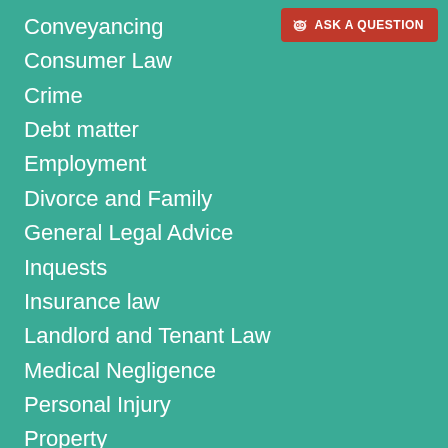Conveyancing
Consumer Law
Crime
Debt matter
Employment
Divorce and Family
General Legal Advice
Inquests
Insurance law
Landlord and Tenant Law
Medical Negligence
Personal Injury
Property
Public Law
Small Business Legal Advice
Wills and Probate